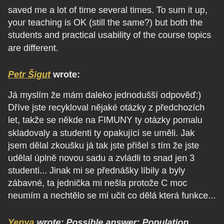saved me a lot of time several times. To sum it up, your teaching is OK (still the same?) but both the students and practical usability of the course topics are different.
Petr Šigut wrote:
Já myslím že mám daleko jednodušší odpověď:) Dříve jste recykloval nějaké otázky z předchozích let, takže se někde na FIMUNY ty otázky pomalu skladovaly a studenti ty opakující se uměli. Jak jsem dělal zkoušku já tak jste přišel s tím že jste udělal úplně novou sadu a zvládli to snad jen 3 studenti... Jinak mi se přednášky líbily a byly zábavné, ta jednička mi nešla protože C moc neumím a nechtělo se mi učit co dělá která funkce...
Yenya wrote: Possible answer: Population
Yesterday's presentation of Radek